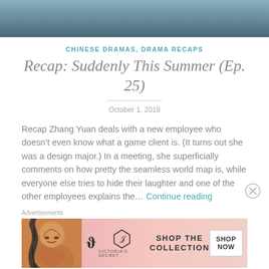[Figure (photo): Top portion of a photo showing a person in a dark setting, cropped at the bottom]
CHINESE DRAMAS, DRAMA RECAPS
Recap: Suddenly This Summer (Ep. 25)
October 1, 2018
Recap Zhang Yuan deals with a new employee who doesn't even know what a game client is. (It turns out she was a design major.) In a meeting, she superficially comments on how pretty the seamless world map is, while everyone else tries to hide their laughter and one of the other employees explains the… Continue reading
Advertisements
[Figure (photo): Victoria's Secret advertisement banner with pink background, model on left, VS logo, SHOP THE COLLECTION text, and SHOP NOW button]